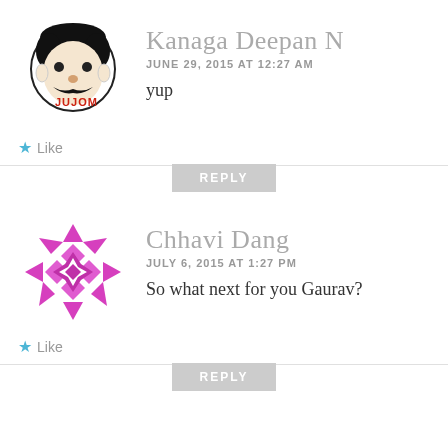[Figure (illustration): Avatar of Kanaga Deepan N - a cartoon face illustration with mustache and JUJOM text]
Kanaga Deepan N
JUNE 29, 2015 AT 12:27 AM
yup
Like
REPLY
[Figure (illustration): Avatar of Chhavi Dang - a magenta/pink geometric star pattern logo]
Chhavi Dang
JULY 6, 2015 AT 1:27 PM
So what next for you Gaurav?
Like
REPLY